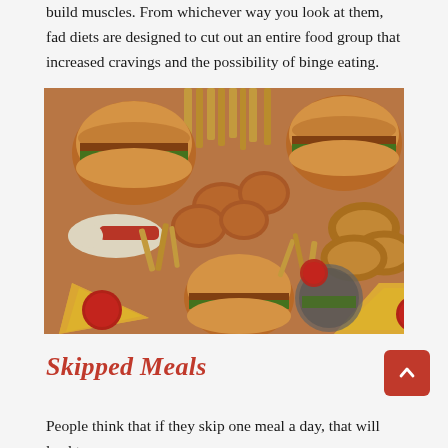build muscles. From whichever way you look at them, fad diets are designed to cut out an entire food group that increased cravings and the possibility of binge eating.
[Figure (photo): A large spread of various fast foods including burgers, french fries, pizza slices with pepperoni, fried chicken nuggets, hot dogs, onion rings, and other junk food items piled together.]
Skipped Meals
People think that if they skip one meal a day, that will lead to